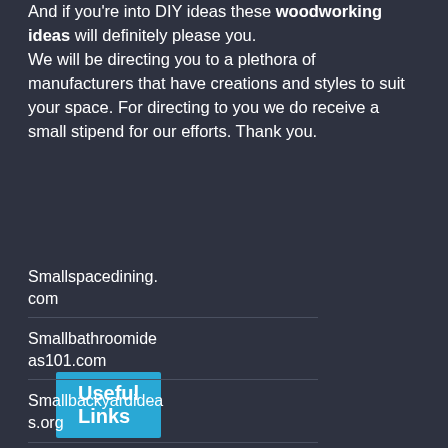And if you're into DIY ideas these woodworking ideas will definitely please you.
We will be directing you to a plethora of manufacturers that have creations and styles to suit your space. For directing to you we do receive a small stipend for our efforts. Thank you.
Useful Links
Smallspacedining.com
Smallbathroomideas101.com
Smallbackyardideas.org
Medicare Part B Vaccines
BestSleepAdvisor.com